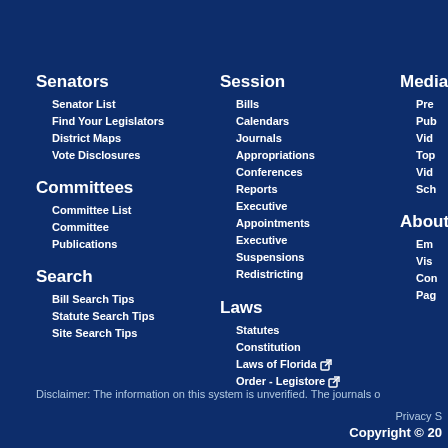Senators
Senator List
Find Your Legislators
District Maps
Vote Disclosures
Committees
Committee List
Committee
Publications
Search
Bill Search Tips
Statute Search Tips
Site Search Tips
Session
Bills
Calendars
Journals
Appropriations
Conferences
Reports
Executive
Appointments
Executive
Suspensions
Redistricting
Laws
Statutes
Constitution
Laws of Florida ↗
Order - Legistore ↗
Media
Pre
Pub
Vid
Top
Vid
Sch
About
Em
Vis
Con
Pag
Disclaimer: The information on this system is unverified. The journals o
Privacy S
Copyright © 20